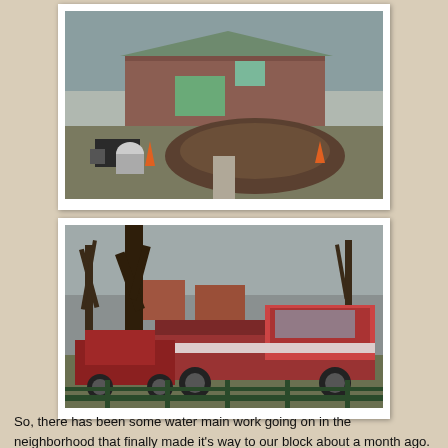[Figure (photo): Outdoor scene showing a large mound of excavated dirt/soil in front of a brick ranch house with a green garage door. Construction equipment and orange traffic cones are visible. Bare winter grass and a concrete sidewalk path.]
[Figure (photo): Outdoor scene showing parked vehicles including a large red and white extended cab pickup truck and a dark red/maroon sedan, parked near bare winter trees in a residential neighborhood. A fence rail is visible in the foreground.]
So, there has been some water main work going on in the neighborhood that finally made it's way to our block about a month ago. I don't actually remember when it started but it